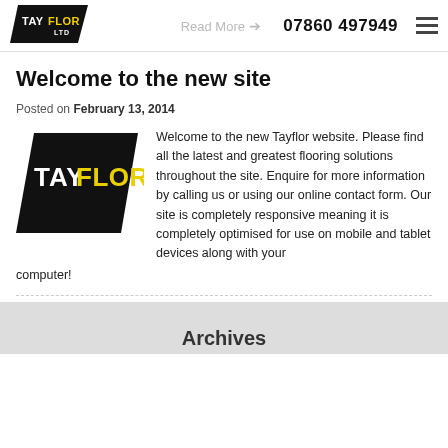TAYFLOR LTD logo | Read More → | 07860 497949 | menu
Welcome to the new site
Posted on February 13, 2014
[Figure (logo): Tayflor Ltd logo — black parallelogram with TAY in white and FLOR in yellow]
Welcome to the new Tayflor website. Please find all the latest and greatest flooring solutions throughout the site. Enquire for more information by calling us or using our online contact form. Our site is completely responsive meaning it is completely optimised for use on mobile and tablet devices along with your computer!
Archives